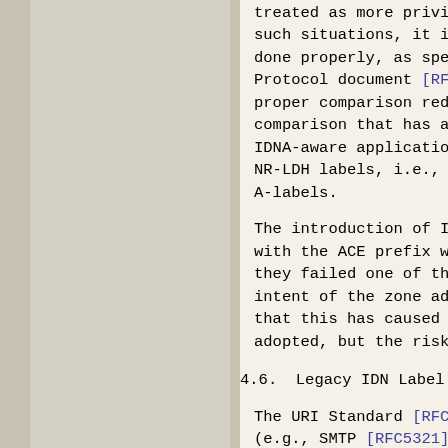treated as more privileged than such situations, it is especial done properly, as specified in Protocol document [RFC5891]. F proper comparison reduces to th comparison that has always been IDNA-aware applications are exp NR-LDH labels, i.e., to avoid l A-labels.
The introduction of IDNA meant with the ACE prefix would be co they failed one of the relevant intent of the zone administrato that this has caused any practi adopted, but the risk still exi
4.6.  Legacy IDN Label Strings
The URI Standard [RFC3986] and (e.g., SMTP [RFC5321] and HTTP labels in DNS names used with t form of IDNs is permitted in th used, differences in interpreta arise only for characters whose